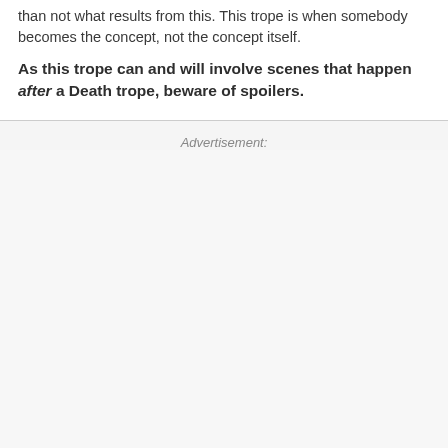than not what results from this. This trope is when somebody becomes the concept, not the concept itself.
As this trope can and will involve scenes that happen after a Death trope, beware of spoilers.
Advertisement: